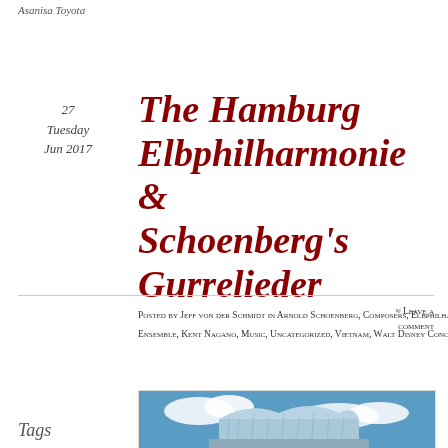Asanisa Toyota
27
Tuesday
Jun 2017
The Hamburg Elbphilharmonie & Schoenberg's Gurrelieder
Posted by Jeff von der Schmidt in Arnold Schoenberg, Composers, Elbphilharmonie, Hamburg, Hanoi New Music Ensemble, Kent Nagano, Music, Uncategorized, Vietnam, Walt Disney Concert Hall
≈ Leave a comment
Tags
[Figure (photo): Exterior architectural photo of the Hamburg Elbphilharmonie building with glass facade against a blue sky with clouds]